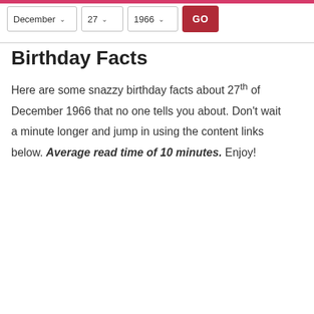December 27 1966 GO
Birthday Facts
Here are some snazzy birthday facts about 27th of December 1966 that no one tells you about. Don't wait a minute longer and jump in using the content links below. Average read time of 10 minutes. Enjoy!